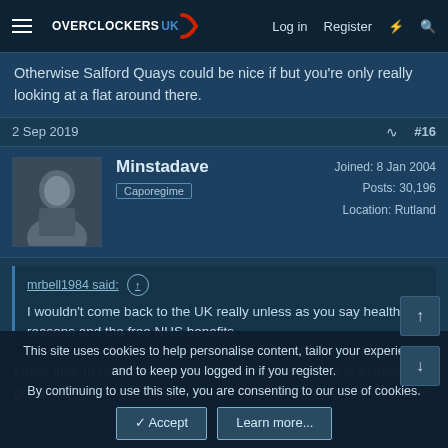Overclockers UK — Log in  Register
Otherwise Salford Quays could be nice if but you're only really looking at a flat around there.
2 Sep 2019  #16
Minstadave
Caporegime
Joined: 8 Jan 2004
Posts: 30,196
Location: Rutland
mrbell1984 said:
I wouldn't come back to the UK really unless as you say health reasons and the free NHS benefits.
Great time to move back from NZ, the exchange rate is extremely good
This site uses cookies to help personalise content, tailor your experience and to keep you logged in if you register.
By continuing to use this site, you are consenting to our use of cookies.